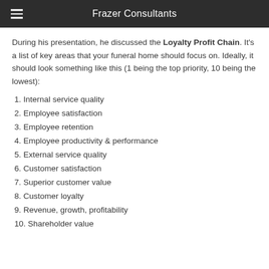Frazer Consultants
During his presentation, he discussed the Loyalty Profit Chain. It's a list of key areas that your funeral home should focus on. Ideally, it should look something like this (1 being the top priority, 10 being the lowest):
1. Internal service quality
2. Employee satisfaction
3. Employee retention
4. Employee productivity & performance
5. External service quality
6. Customer satisfaction
7. Superior customer value
8. Customer loyalty
9. Revenue, growth, profitability
10. Shareholder value